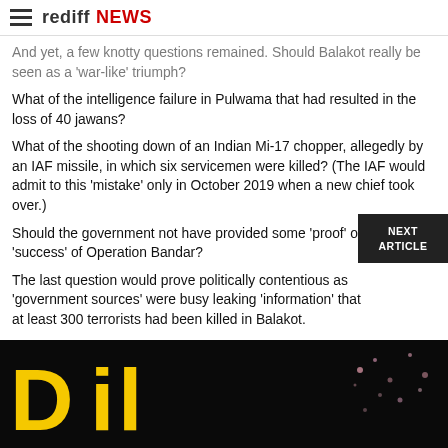rediff NEWS
And yet, a few knotty questions remained. Should Balakot really be seen as a 'war-like' triumph?
What of the intelligence failure in Pulwama that had resulted in the loss of 40 jawans?
What of the shooting down of an Indian Mi-17 chopper, allegedly by an IAF missile, in which six servicemen were killed? (The IAF would admit to this 'mistake' only in October 2019 when a new chief took over.)
Should the government not have provided some 'proof' of the 'success' of Operation Bandar?
The last question would prove politically contentious as 'government sources' were busy leaking 'information' that at least 300 terrorists had been killed in Balakot.
[Figure (photo): Dark banner image with yellow/gold text letters partially visible, resembling a news article image or advertisement]